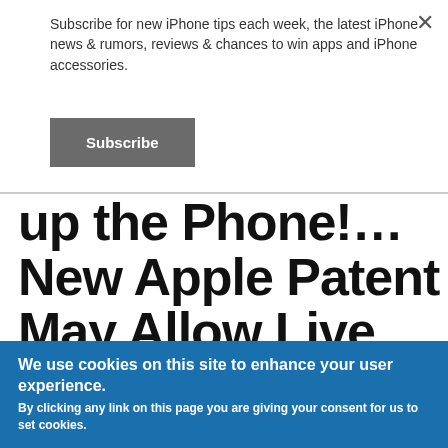Subscribe for new iPhone tips each week, the latest iPhone news & rumors, reviews & chances to win apps and iPhone accessories.
Subscribe
up the Phone!… New Apple Patent May Allow Live Voicemail Screening
We use cookies on this site to enhance your user experience. By clicking any link on this page you are giving your consent for us to set cookies.